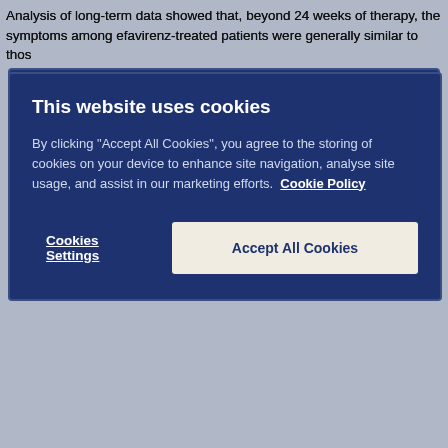Analysis of long-term data showed that, beyond 24 weeks of therapy, the symptoms among efavirenz-treated patients were generally similar to thos
[Figure (screenshot): Cookie consent modal dialog with dark blue background. Title: 'This website uses cookies'. Body text: 'By clicking "Accept All Cookies", you agree to the storing of cookies on your device to enhance site navigation, analyse site usage, and assist in our marketing efforts. Cookie Policy'. Two buttons: 'Cookies Settings' (text link) and 'Accept All Cookies' (beige/cream button).]
Cases of osteonecrosis have been reported, particularly in patients with g HIV disease or long-term exposure to combination antiretroviral therapy (C section 4.4).
Laboratory test abnormalities:
Liver enzymes: Elevations of AST and ALT to greater than five times the u in 3% of 1,008 patients treated with 600 mg of efavirenz (5-8% after long- were seen in patients treated with control regimens (5% after long-term tr five times ULN were observed in 4% of all patients treated with 600 mg of control regimens (7% of efavirenz-treated patients and 3% of control-trea elevations of GGT in patients receiving efavirenz may reflect enzyme indu patients in each treatment arm discontinued because of liver or biliary sys
Amylase: in the clinical trial subset of 1,008 patients, asymptomatic inc